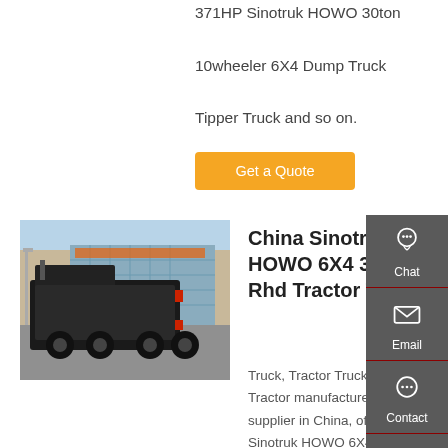371HP Sinotruk HOWO 30ton 10wheeler 6X4 Dump Truck Tipper Truck and so on.
Get a Quote
[Figure (photo): Rear view of a Sinotruk HOWO tractor truck in a parking area with commercial buildings in background]
China Sinotruk HOWO 6X4 371HP Rhd Tractor Truck
Truck, Tractor Truck, Tractor manufacturer / supplier in China, offering Sinotruk HOWO 6X4 371HP Rhd Tractor Truck Zz4257s3241W, Original and Genuine Spare Parts Limit